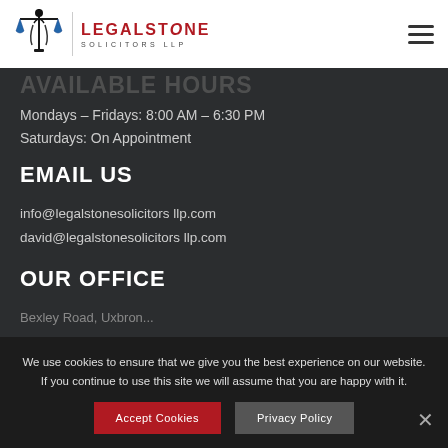[Figure (logo): Legalstone Solicitors LLP logo with scales of justice icon and red text]
AVAILABLE HOURS
Mondays – Fridays: 8:00 AM – 6:30 PM
Saturdays: On Appointment
EMAIL US
info@legalstonesolicitors llp.com
david@legalstonesolicitors llp.com
OUR OFFICE
We use cookies to ensure that we give you the best experience on our website. If you continue to use this site we will assume that you are happy with it.